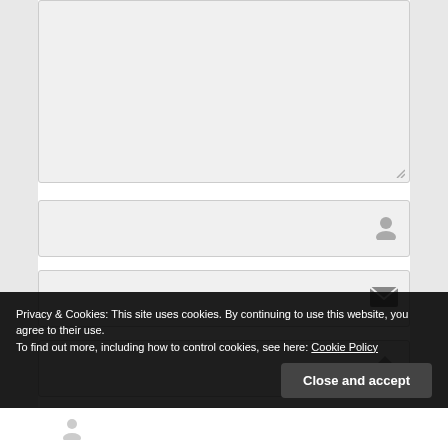[Figure (screenshot): Web form with a large textarea field at top (with resize handle), followed by three single-line input fields each with an icon on the right (user icon, email/envelope icon, house/home icon). A cookie consent banner overlays the bottom portion with text and a 'Close and accept' button.]
Privacy & Cookies: This site uses cookies. By continuing to use this website, you agree to their use.
To find out more, including how to control cookies, see here: Cookie Policy
Close and accept